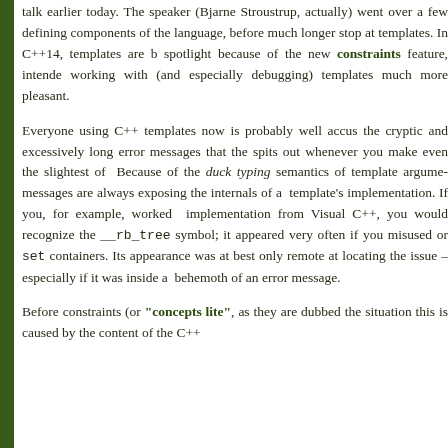talk earlier today. The speaker (Bjarne Stroustrup, actually) went over a few defining components of the language, before making a much longer stop at templates. In C++14, templates are back in the spotlight because of the new constraints feature, intended to make working with (and especially debugging) templates much more pleasant.
Everyone using C++ templates now is probably well accustomed to the cryptic and excessively long error messages that the compiler spits out whenever you make even the slightest of mistakes. Because of the duck typing semantics of template arguments, error messages are always exposing the internals of a particular template's implementation. If you, for example, worked with an implementation from Visual C++, you would recognize the __rb_tree symbol; it appeared very often if you misused the map or set containers. Its appearance was at best only remotely helpful at locating the issue – especially if it was inside a multi-page behemoth of an error message.
Before constraints (or "concepts lite", as they are dubbed), the situation this is caused by the content of the C++ template